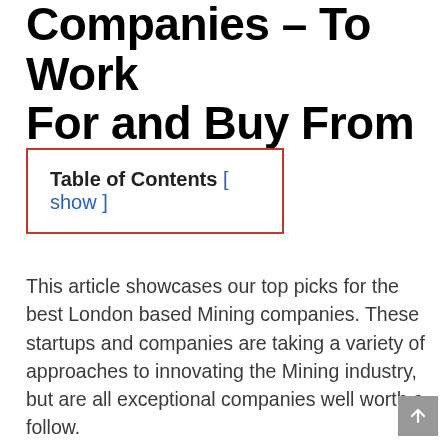Companies – To Work For and Buy From
Table of Contents [ show ]
This article showcases our top picks for the best London based Mining companies. These startups and companies are taking a variety of approaches to innovating the Mining industry, but are all exceptional companies well worth a follow.